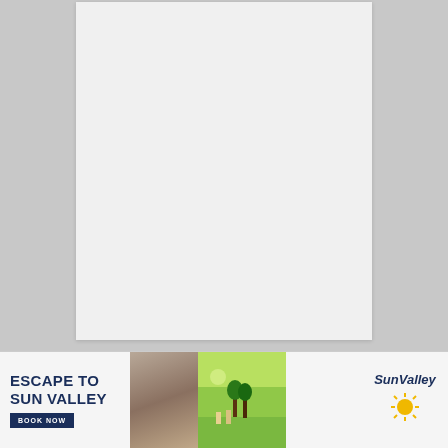[Figure (other): Large light gray rectangular placeholder/blank content area representing a document or image not loaded]
A ... in this file ... use ... the ... ti ...
[Figure (infographic): Advertisement banner for Sun Valley resort. Text reads: ESCAPE TO SUN VALLEY with BOOK NOW button, photos of indoor and outdoor scenes, and Sun Valley logo with sun icon.]